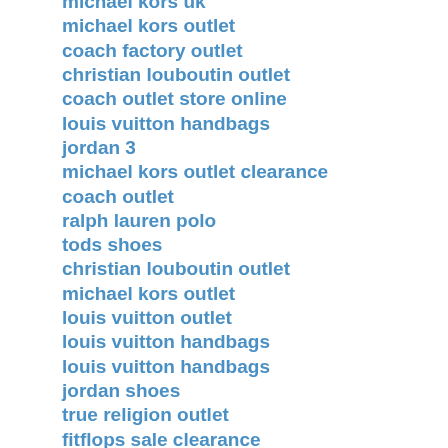michael kors uk
michael kors outlet
coach factory outlet
christian louboutin outlet
coach outlet store online
louis vuitton handbags
jordan 3
michael kors outlet clearance
coach outlet
ralph lauren polo
tods shoes
christian louboutin outlet
michael kors outlet
louis vuitton outlet
louis vuitton handbags
louis vuitton handbags
jordan shoes
true religion outlet
fitflops sale clearance
kate spade handbags
coach outlet
air jordan pas cher
coach outlet store online clearances